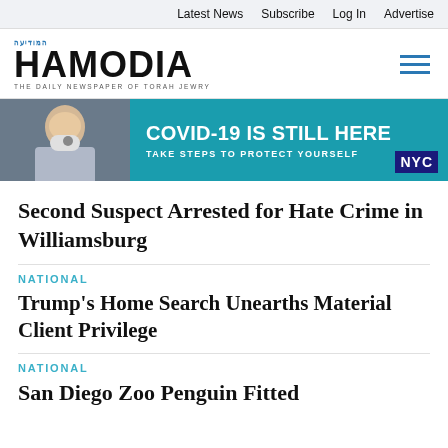Latest News  Subscribe  Log In  Advertise
[Figure (logo): Hamodia newspaper logo with Hebrew text and tagline THE DAILY NEWSPAPER OF TORAH JEWRY]
[Figure (infographic): COVID-19 IS STILL HERE banner ad with masked person photo, subtitle TAKE STEPS TO PROTECT YOURSELF, NYC logo]
Second Suspect Arrested for Hate Crime in Williamsburg
NATIONAL
Trump's Home Search Unearths Material Client Privilege
NATIONAL
San Diego Zoo Penguin Fitted